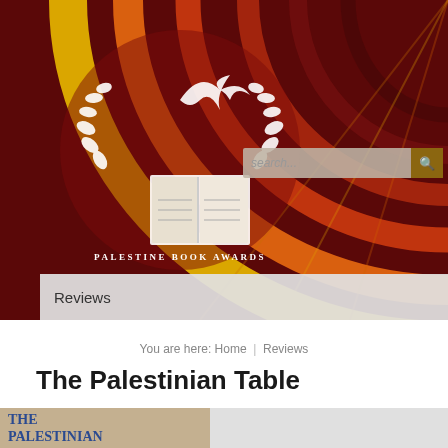[Figure (screenshot): Palestine Book Awards website header with logo (dove/wreath/book design) and colorful swirl background in red, orange, yellow tones, search bar in upper right]
Palestine Book Awards
Reviews
You are here: Home | Reviews
The Palestinian Table
[Figure (photo): Book cover of 'The Palestinian Table' showing title text in blue on a beige/stone textured background]